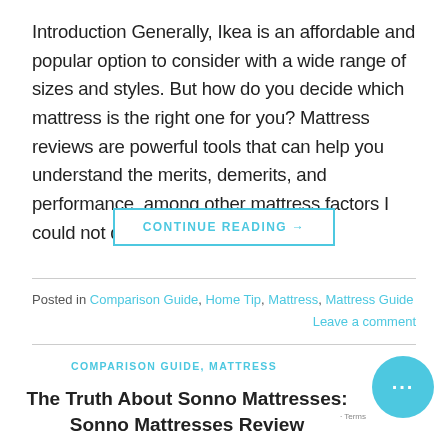Introduction Generally, Ikea is an affordable and popular option to consider with a wide range of sizes and styles. But how do you decide which mattress is the right one for you? Mattress reviews are powerful tools that can help you understand the merits, demerits, and performance, among other mattress factors I could not determine [...]
CONTINUE READING →
Posted in Comparison Guide, Home Tip, Mattress, Mattress Guide
Leave a comment
COMPARISON GUIDE, MATTRESS
The Truth About Sonno Mattresses: Sonno Mattresses Review